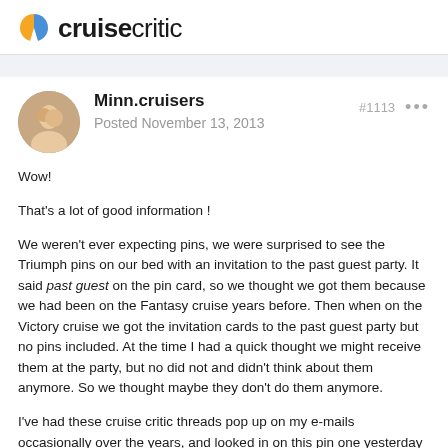cruisecritic
Minn.cruisers
Posted November 13, 2013
#1113
Wow!
That's a lot of good information !
We weren't ever expecting pins, we were surprised to see the Triumph pins on our bed with an invitation to the past guest party. It said past guest on the pin card, so we thought we got them because we had been on the Fantasy cruise years before. Then when on the Victory cruise we got the invitation cards to the past guest party but no pins included. At the time I had a quick thought we might receive them at the party, but no did not and didn't think about them anymore. So we thought maybe they don't do them anymore.
I've had these cruise critic threads pop up on my e-mails occasionally over the years, and looked in on this pin one yesterday being our cruise is in a few weeks and it spiked my interest again.
This cruise we should get gold pins (vifp), not sure what all this means